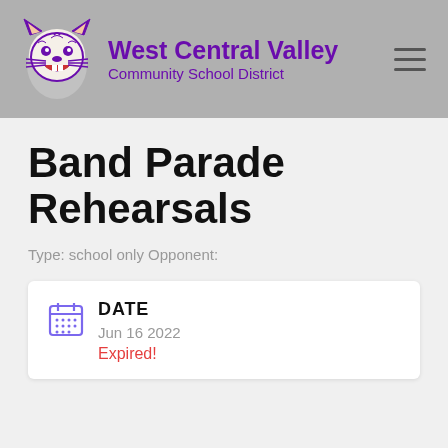West Central Valley Community School District
Band Parade Rehearsals
Type: school only Opponent:
| DATE |
| --- |
| Jun 16 2022 |
| Expired! |